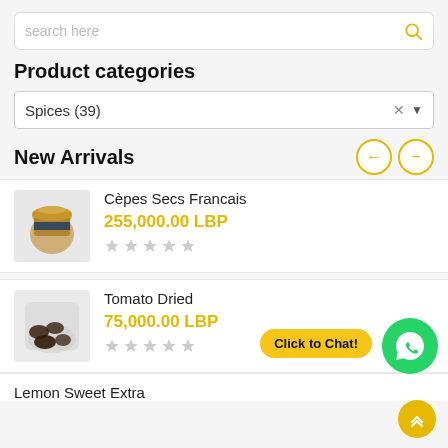search here
Product categories
Spices (39)
New Arrivals
Cèpes Secs Francais
255,000.00 LBP
Tomato Dried
75,000.00 LBP
Lemon Sweet Extra